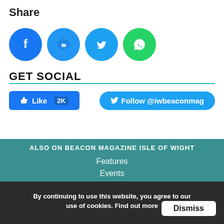Share
[Figure (illustration): Four social media share icons in circles: Facebook (blue), Messenger (light blue), Twitter (blue), WhatsApp (green)]
GET SOCIAL
[Figure (illustration): Two social buttons: 'Like 2K' (Facebook blue) and 'Follow @iwbeaconmag' (Twitter blue pill button)]
ALSO ON BEACON MAGAZINE ISLE OF WIGHT
Features
Events
Contact Us
By continuing to use this website, you agree to our use of cookies. Find out more  Dismiss